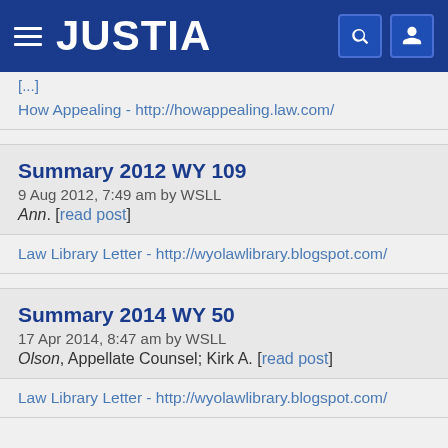JUSTIA
[...]
How Appealing - http://howappealing.law.com/
Summary 2012 WY 109
9 Aug 2012, 7:49 am by WSLL
Ann. [read post]
Law Library Letter - http://wyolawlibrary.blogspot.com/
Summary 2014 WY 50
17 Apr 2014, 8:47 am by WSLL
Olson, Appellate Counsel; Kirk A. [read post]
Law Library Letter - http://wyolawlibrary.blogspot.com/